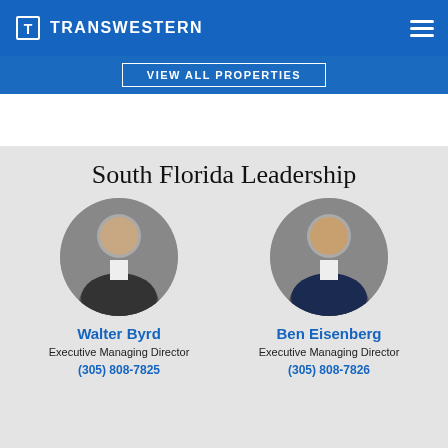TRANSWESTERN
VIEW ALL PROPERTIES
South Florida Leadership
[Figure (photo): Circular headshot of Walter Byrd, a man in a dark suit with grey hair, smiling]
Walter Byrd
Executive Managing Director
(305) 808-7825
[Figure (photo): Circular headshot of Ben Eisenberg, a man in a dark suit, smiling]
Ben Eisenberg
Executive Managing Director
(305) 808-7826